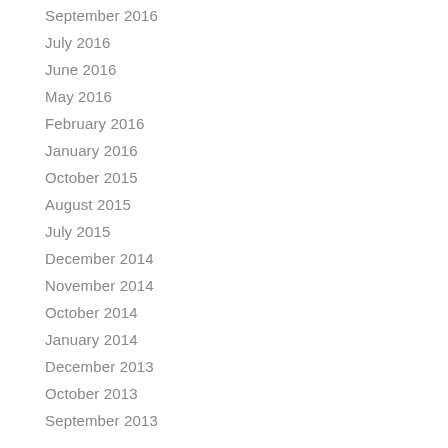September 2016
July 2016
June 2016
May 2016
February 2016
January 2016
October 2015
August 2015
July 2015
December 2014
November 2014
October 2014
January 2014
December 2013
October 2013
September 2013